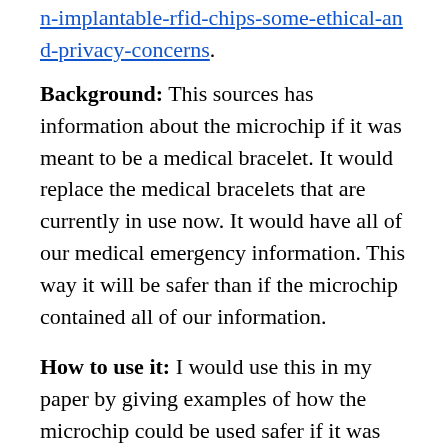n-implantable-rfid-chips-some-ethical-and-privacy-concerns.
Background: This sources has information about the microchip if it was meant to be a medical bracelet. It would replace the medical bracelets that are currently in use now. It would have all of our medical emergency information. This way it will be safer than if the microchip contained all of our information.
How to use it: I would use this in my paper by giving examples of how the microchip could be used safer if it was used as a medical bracelet instead of a having all of your bank and personal information.